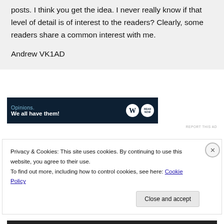posts. I think you get the idea. I never really know if that level of detail is of interest to the readers? Clearly, some readers share a common interest with me.

Andrew VK1AD
[Figure (other): Advertisement banner with dark navy background. Left side shows text 'Opinions.' in light blue and 'We all have them!' in white bold. Right side shows WordPress 'W' logo circle and a second circular logo.]
REPORT THIS AD
Privacy & Cookies: This site uses cookies. By continuing to use this website, you agree to their use.
To find out more, including how to control cookies, see here: Cookie Policy
Close and accept